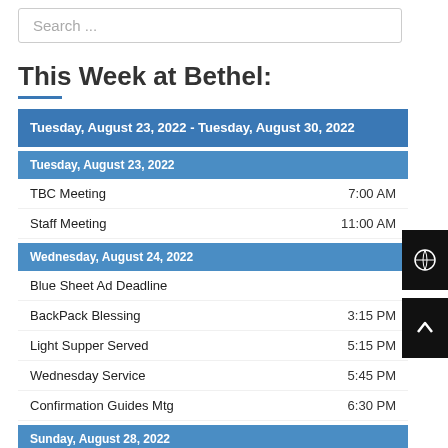Search ...
This Week at Bethel:
Tuesday, August 23, 2022 - Tuesday, August 30, 2022
Tuesday, August 23, 2022
TBC Meeting   7:00 AM
Staff Meeting   11:00 AM
Wednesday, August 24, 2022
Blue Sheet Ad Deadline
BackPack Blessing   3:15 PM
Light Supper Served   5:15 PM
Wednesday Service   5:45 PM
Confirmation Guides Mtg   6:30 PM
Sunday, August 28, 2022
Worship Service   10:00 AM
Coffee Hour   11:00 AM